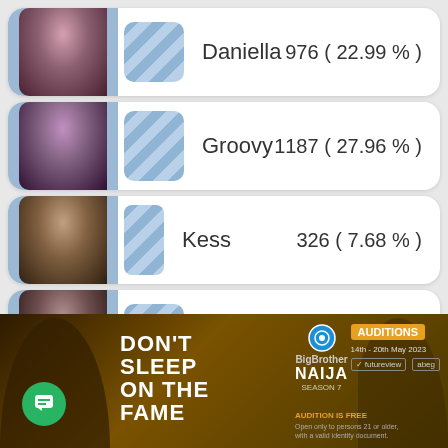[Figure (infographic): Voter poll results card for Daniella showing 976 votes (22.99%)]
Daniella   976 ( 22.99 % )
[Figure (infographic): Voter poll results card for Groovy showing 1187 votes (27.96%)]
Groovy   1187 ( 27.96 % )
[Figure (infographic): Voter poll results card for Kess showing 326 votes (7.68%)]
Kess   326 ( 7.68 % )
[Figure (infographic): Voter poll results card for Pharmsavi showing 646 votes (15.21%)]
Pharmsavi   646 ( 15.21 % )
[Figure (photo): Big Brother Naija Season 7 advertisement banner with text DON'T SLEEP ON THE FAME, auditions info, and partner logos]